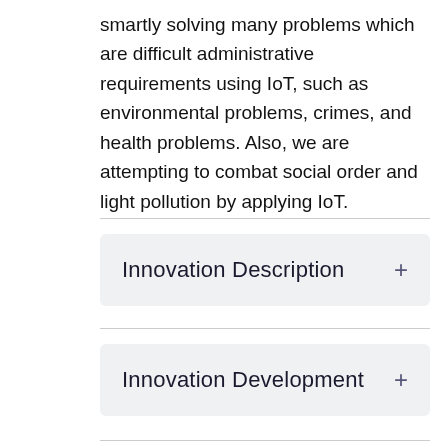smartly solving many problems which are difficult administrative requirements using IoT, such as environmental problems, crimes, and health problems. Also, we are attempting to combat social order and light pollution by applying IoT.
Innovation Description +
Innovation Development +